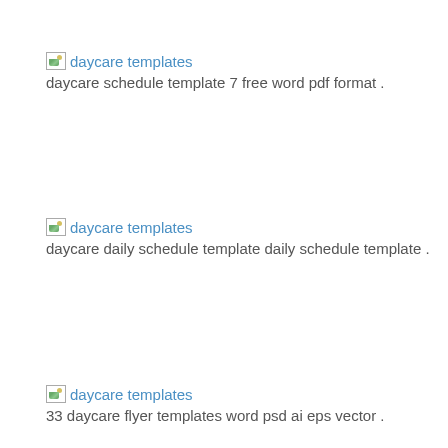[Figure (other): Broken image icon for daycare templates]
daycare schedule template 7 free word pdf format .
[Figure (other): Broken image icon for daycare templates]
daycare daily schedule template daily schedule template .
[Figure (other): Broken image icon for daycare templates]
33 daycare flyer templates word psd ai eps vector .